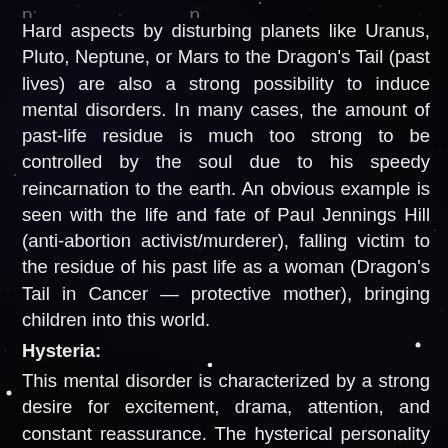Hard aspects by disturbing planets like Uranus, Pluto, Neptune, or Mars to the Dragon's Tail (past lives) are also a strong possibility to induce mental disorders. In many cases, the amount of past-life residue is much too strong to be controlled by the soul due to his speedy reincarnation to the earth. An obvious example is seen with the life and fate of Paul Jennings Hill (anti-abortion activist/murderer), falling victim to the residue of his past life as a woman (Dragon's Tail in Cancer — protective mother), bringing children into this world.
Hysteria:
This mental disorder is characterized by a strong desire for excitement, drama, attention, and constant reassurance. The hysterical personality will do all that he can to attract attention and exaggerate the situation. This type of endeavor is seen within th…